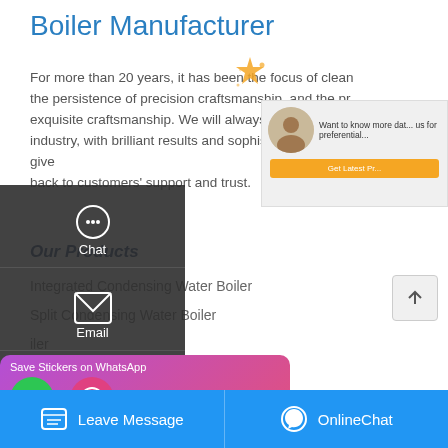Boiler Manufacturer
For more than 20 years, it has been the focus of clean the persistence of precision craftsmanship, and the pr exquisite craftsmanship. We will always be based on industry, with brilliant results and sophisticated technology, to give back to customers' support and trust.
Our Products
Integrated Condensing Water Boiler
Split Condensing Water Boiler
iler
[Figure (screenshot): Left sidebar overlay with Chat, Email, and Contact options on dark background]
[Figure (screenshot): Top-right chat widget with customer service avatar, text and Get Latest Price button]
[Figure (screenshot): WhatsApp sticker save overlay with phone and emoji icons]
Leave Message   OnlineChat